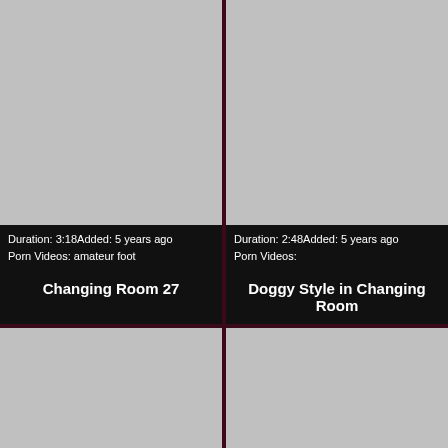[Figure (screenshot): Gray thumbnail placeholder for video - top left]
Duration: 3:18Added: 5 years ago
Porn Videos: amateur foot
Changing Room 27
[Figure (screenshot): Gray thumbnail placeholder for video - bottom left]
[Figure (screenshot): Gray thumbnail placeholder for video - top right]
Duration: 2:48Added: 5 years ago
Porn Videos:
Doggy Style in Changing Room
[Figure (screenshot): Gray thumbnail placeholder for video - bottom right]